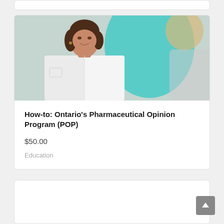[Figure (photo): Partial top of a card element showing white card with rounded corners on gray background]
[Figure (photo): Photo of a female pharmacist in white lab coat sitting across from a patient with blonde hair, teal background circle]
How-to: Ontario’s Pharmaceutical Opinion Program (POP)
$50.00
Education
[Figure (photo): Partial bottom card element, white card with rounded corners, mostly empty]